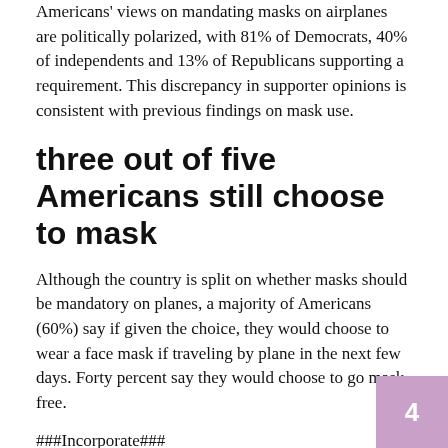Americans' views on mandating masks on airplanes are politically polarized, with 81% of Democrats, 40% of independents and 13% of Republicans supporting a requirement. This discrepancy in supporter opinions is consistent with previous findings on mask use.
three out of five Americans still choose to mask
Although the country is split on whether masks should be mandatory on planes, a majority of Americans (60%) say if given the choice, they would choose to wear a face mask if traveling by plane in the next few days. Forty percent say they would choose to go mask-free.
###Incorporate###
Party identification is the single most important factor in the propensity of American adults to wear a mask on a flight. Ninety percent of Democrats and 54% of independents say they would.